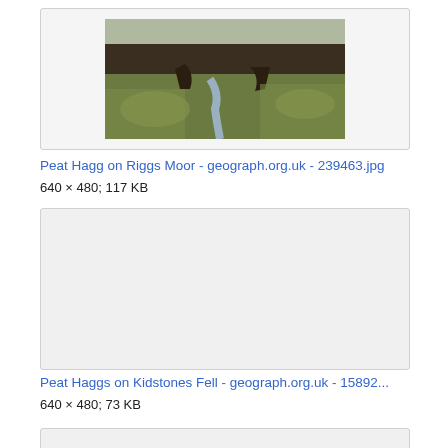[Figure (photo): Photograph of peat hagg on Riggs Moor - a moorland landscape with dark peat channels and a small stream running through green and brown vegetation]
Peat Hagg on Riggs Moor - geograph.org.uk - 239463.jpg
640 × 480; 117 KB
[Figure (photo): Placeholder/blank image card for Peat Haggs on Kidstones Fell - geograph.org.uk]
Peat Haggs on Kidstones Fell - geograph.org.uk - 15892...
640 × 480; 73 KB
[Figure (photo): Partially visible image card at bottom of page]